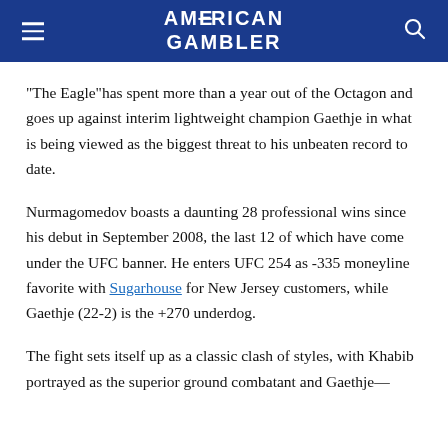AMERICAN GAMBLER
“The Eagle”has spent more than a year out of the Octagon and goes up against interim lightweight champion Gaethje in what is being viewed as the biggest threat to his unbeaten record to date.
Nurmagomedov boasts a daunting 28 professional wins since his debut in September 2008, the last 12 of which have come under the UFC banner. He enters UFC 254 as -335 moneyline favorite with Sugarhouse for New Jersey customers, while Gaethje (22-2) is the +270 underdog.
The fight sets itself up as a classic clash of styles, with Khabib portrayed as the superior ground combatant and Gaethje—